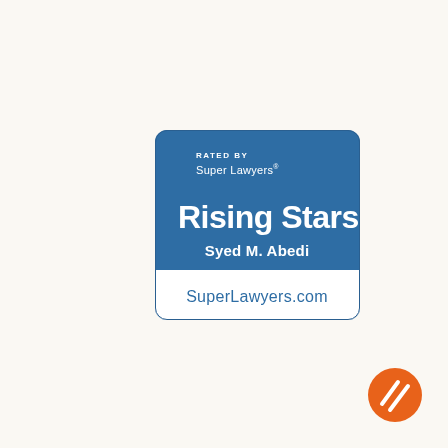[Figure (logo): Super Lawyers Rising Stars badge for Syed M. Abedi. Blue rounded rectangle badge with 'RATED BY Super Lawyers' at top, 'Rising Stars' in large white text, 'Syed M. Abedi' in bold white text, and a white bottom section with 'SuperLawyers.com' in blue text.]
[Figure (logo): Orange circular logo with two white diagonal stripes, positioned in bottom-right corner.]